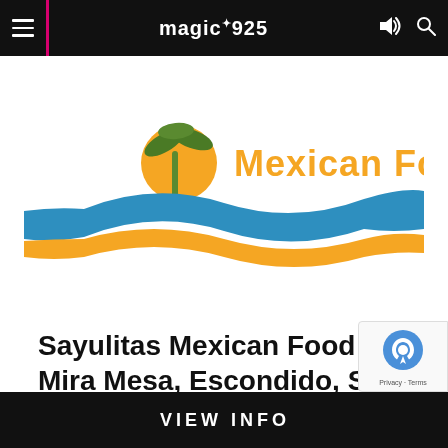magic925
[Figure (logo): Sayulitas Mexican Food logo with palm tree, orange sun, and blue/orange wave swoosh. Text 'Mexican Food' in orange.]
Sayulitas Mexican Food | Mira Mesa, Escondido, San Diego & San Marcos
VIEW INFO